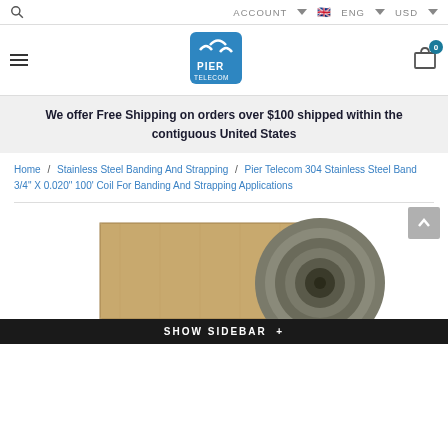ACCOUNT  ENG  USD
[Figure (logo): Pier Telecom logo with seagull graphic and blue square background]
We offer Free Shipping on orders over $100 shipped within the contiguous United States
Home / Stainless Steel Banding And Strapping / Pier Telecom 304 Stainless Steel Band 3/4" X 0.020" 100' Coil For Banding And Strapping Applications
[Figure (photo): Product photo showing a coil of stainless steel banding on a cardboard box background, partially visible at the bottom of the page]